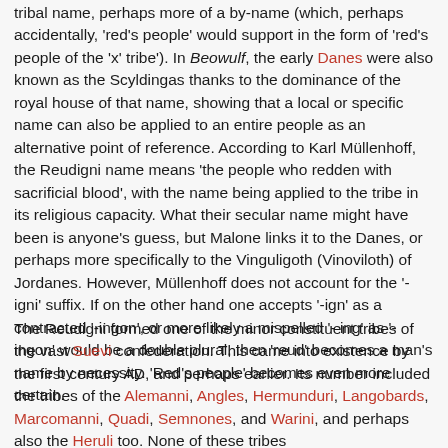tribal name, perhaps more of a by-name (which, perhaps accidentally, 'red's people' would support in the form of 'red's people of the 'x' tribe'). In Beowulf, the early Danes were also known as the Scyldingas thanks to the dominance of the royal house of that name, showing that a local or specific name can also be applied to an entire people as an alternative point of reference. According to Karl Müllenhoff, the Reudigni name means 'the people who redden with sacrificial blood', with the name being applied to the tribe in its religious capacity. What their secular name might have been is anyone's guess, but Malone links it to the Danes, or perhaps more specifically to the Vinguligoth (Vinoviloth) of Jordanes. However, Müllenhoff does not account for the '-igni' suffix. If on the other hand one accepts '-ign' as a contracted '-ingon', or more likely a mispelled '-ing' as '-ingon' would be a double plural, then 'reud' becomes a man's name by necessity. 'Red's people' becomes even more certain.
The Reudigni formed one of the minor constituent tribes of the vast Suevi confederation. This came into existence by the first century AD, and perhaps earlier. Its number included the tribes of the Alemanni, Angles, Hermunduri, Langobards, Marcomanni, Quadi, Semnones, and Warini, and perhaps also the Heruli too. None of these tribes